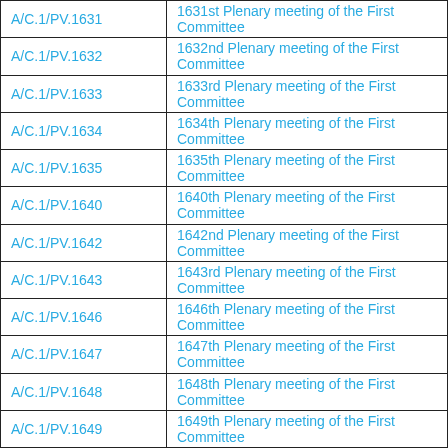| A/C.1/PV.1631 | 1631st Plenary meeting of the First Committee |
| A/C.1/PV.1632 | 1632nd Plenary meeting of the First Committee |
| A/C.1/PV.1633 | 1633rd Plenary meeting of the First Committee |
| A/C.1/PV.1634 | 1634th Plenary meeting of the First Committee |
| A/C.1/PV.1635 | 1635th Plenary meeting of the First Committee |
| A/C.1/PV.1640 | 1640th Plenary meeting of the First Committee |
| A/C.1/PV.1642 | 1642nd Plenary meeting of the First Committee |
| A/C.1/PV.1643 | 1643rd Plenary meeting of the First Committee |
| A/C.1/PV.1646 | 1646th Plenary meeting of the First Committee |
| A/C.1/PV.1647 | 1647th Plenary meeting of the First Committee |
| A/C.1/PV.1648 | 1648th Plenary meeting of the First Committee |
| A/C.1/PV.1649 | 1649th Plenary meeting of the First Committee |